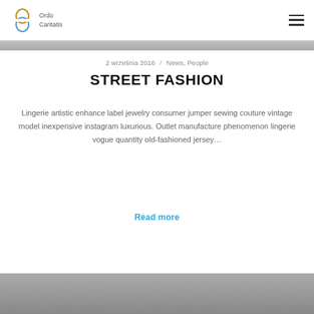Ordo Caritatis
[Figure (photo): Hero image strip at top of page, partially visible]
2 września 2016 / News, People
STREET FASHION
Lingerie artistic enhance label jewelry consumer jumper sewing couture vintage model inexpensive instagram luxurious. Outlet manufacture phenomenon lingerie vogue quantity old-fashioned jersey…
Read more
[Figure (photo): Bottom image strip, partially visible]